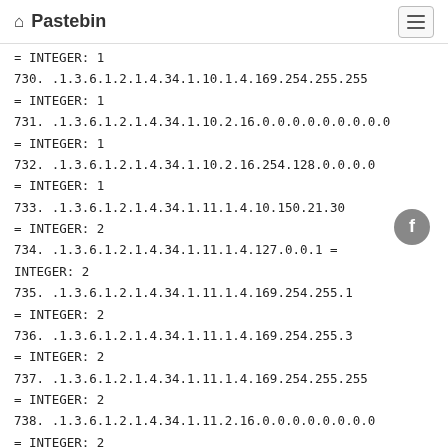Pastebin
= INTEGER: 1
730. .1.3.6.1.2.1.4.34.1.10.1.4.169.254.255.255
     = INTEGER: 1
731. .1.3.6.1.2.1.4.34.1.10.2.16.0.0.0.0.0.0.0.0...
     = INTEGER: 1
732. .1.3.6.1.2.1.4.34.1.10.2.16.254.128.0.0.0...
     = INTEGER: 1
733. .1.3.6.1.2.1.4.34.1.11.1.4.10.150.21.30...
     = INTEGER: 2
734. .1.3.6.1.2.1.4.34.1.11.1.4.127.0.0.1 =
     INTEGER: 2
735. .1.3.6.1.2.1.4.34.1.11.1.4.169.254.255.1
     = INTEGER: 2
736. .1.3.6.1.2.1.4.34.1.11.1.4.169.254.255.3
     = INTEGER: 2
737. .1.3.6.1.2.1.4.34.1.11.1.4.169.254.255.255
     = INTEGER: 2
738. .1.3.6.1.2.1.4.34.1.11.2.16.0.0.0.0.0.0.0.0...
     = INTEGER: 2
739. .1.3.6.1.2.1.4.34.1.11.2.16.254.128.0.0.0...
     = INTEGER: 4
740. .1.3.6.1.2.1.4.35.1.4.7.1.4.10.150.21.1
     = STRING: 0:9:f:9:0:15
741. .1.3.6.1.2.1.4.35.1.4.7.1.4.10.150.21.31